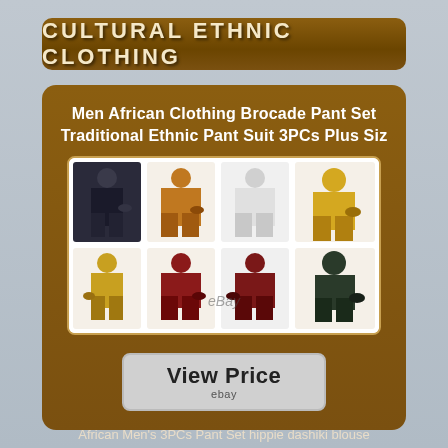CULTURAL ETHNIC CLOTHING
Men African Clothing Brocade Pant Set Traditional Ethnic Pant Suit 3PCs Plus Siz
[Figure (photo): Collage of men's African brocade pant suits in multiple colors: black, orange/brown, white/silver, gold/yellow, olive/gold, dark red/maroon, burgundy, and dark green/grey]
View Price
ebay
African Men's 3PCs Pant Set hippie dashiki blouse